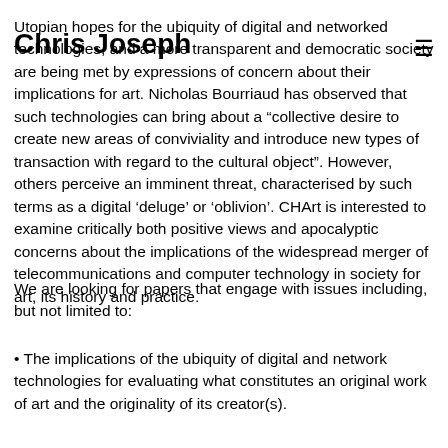Chris Joseph
Utopian hopes for the ubiquity of digital and networked technologies, and a more transparent and democratic society are being met by expressions of concern about their implications for art. Nicholas Bourriaud has observed that such technologies can bring about a “collective desire to create new areas of conviviality and introduce new types of transaction with regard to the cultural object”. However, others perceive an imminent threat, characterised by such terms as a digital ‘deluge’ or ‘oblivion’. CHArt is interested to examine critically both positive views and apocalyptic concerns about the implications of the widespread merger of telecommunications and computer technology in society for art, its history and practice.
We are looking for papers that engage with issues including, but not limited to:
• The implications of the ubiquity of digital and network technologies for evaluating what constitutes an original work of art and the originality of its creator(s).